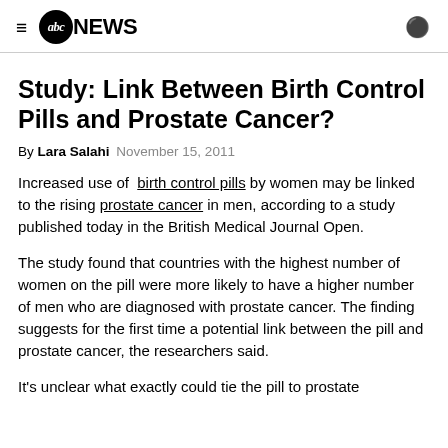abc NEWS
Study: Link Between Birth Control Pills and Prostate Cancer?
By Lara Salahi  November 15, 2011
Increased use of birth control pills by women may be linked to the rising prostate cancer in men, according to a study published today in the British Medical Journal Open.
The study found that countries with the highest number of women on the pill were more likely to have a higher number of men who are diagnosed with prostate cancer. The finding suggests for the first time a potential link between the pill and prostate cancer, the researchers said.
It's unclear what exactly could tie the pill to prostate